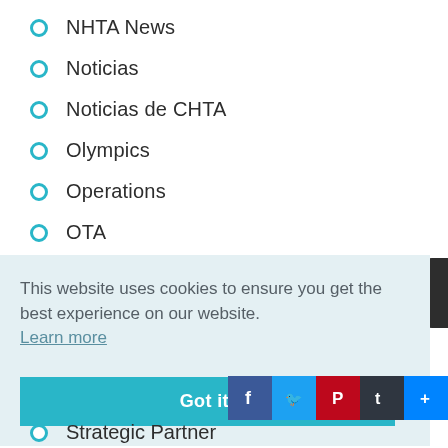NHTA News
Noticias
Noticias de CHTA
Olympics
Operations
OTA
This website uses cookies to ensure you get the best experience on our website. Learn more
Got it!
Strategic Partner